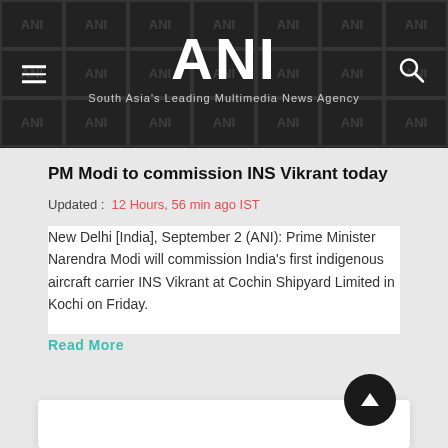ANI — South Asia's Leading Multimedia News Agency
PM Modi to commission INS Vikrant today
Updated : 12 Hours, 56 min ago IST
New Delhi [India], September 2 (ANI): Prime Minister Narendra Modi will commission India's first indigenous aircraft carrier INS Vikrant at Cochin Shipyard Limited in Kochi on Friday.
Read More